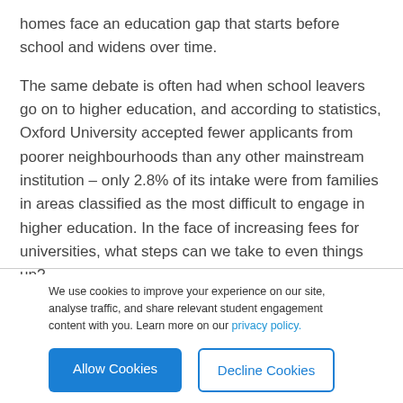homes face an education gap that starts before school and widens over time.
The same debate is often had when school leavers go on to higher education, and according to statistics, Oxford University accepted fewer applicants from poorer neighbourhoods than any other mainstream institution – only 2.8% of its intake were from families in areas classified as the most difficult to engage in higher education. In the face of increasing fees for universities, what steps can we take to even things up?
We use cookies to improve your experience on our site, analyse traffic, and share relevant student engagement content with you. Learn more on our privacy policy.